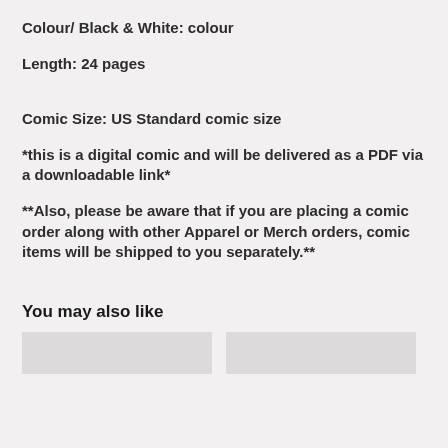Colour/ Black & White: colour
Length: 24 pages
Comic Size: US Standard comic size
*this is a digital comic and will be delivered as a PDF via a downloadable link*
**Also, please be aware that if you are placing a comic order along with other Apparel or Merch orders, comic items will be shipped to you separately.**
You may also like